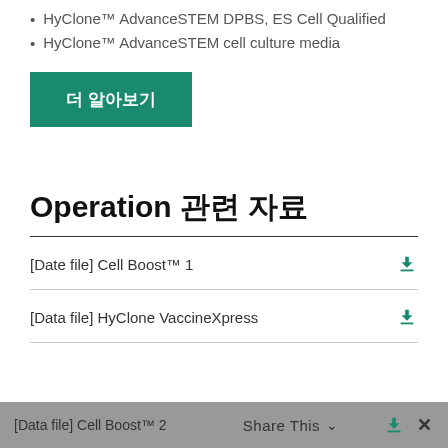HyClone™ AdvanceSTEM DPBS, ES Cell Qualified
HyClone™ AdvanceSTEM cell culture media
더 알아보기
Operation 관련 자료
[Date file] Cell Boost™ 1
[Data file] HyClone VaccineXpress
[Data file] Cell Boost™ 2
Share This